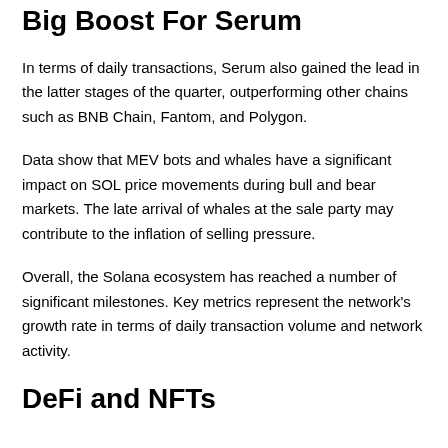Big Boost For Serum
In terms of daily transactions, Serum also gained the lead in the latter stages of the quarter, outperforming other chains such as BNB Chain, Fantom, and Polygon.
Data show that MEV bots and whales have a significant impact on SOL price movements during bull and bear markets. The late arrival of whales at the sale party may contribute to the inflation of selling pressure.
Overall, the Solana ecosystem has reached a number of significant milestones. Key metrics represent the network's growth rate in terms of daily transaction volume and network activity.
DeFi and NFTs